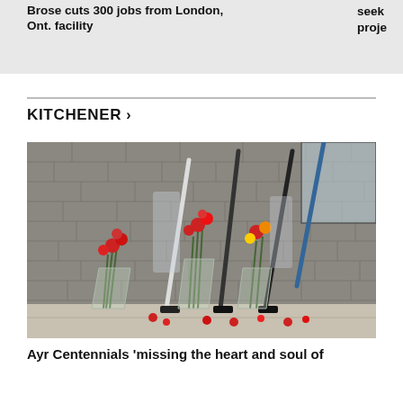Brose cuts 300 jobs from London, Ont. facility
seek proje
KITCHENER >
[Figure (photo): Flowers and hockey sticks leaned against a grey brick wall as a memorial tribute, with red carnations and bouquets placed on the sidewalk below.]
Ayr Centennials 'missing the heart and soul of